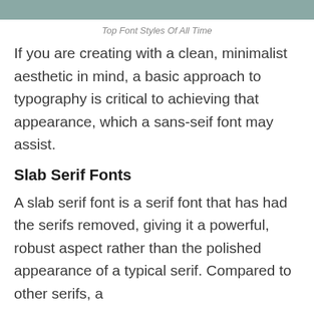[Figure (other): Teal/sage green horizontal header bar]
Top Font Styles Of All Time
If you are creating with a clean, minimalist aesthetic in mind, a basic approach to typography is critical to achieving that appearance, which a sans-seif font may assist.
Slab Serif Fonts
A slab serif font is a serif font that has had the serifs removed, giving it a powerful, robust aspect rather than the polished appearance of a typical serif. Compared to other serifs, a